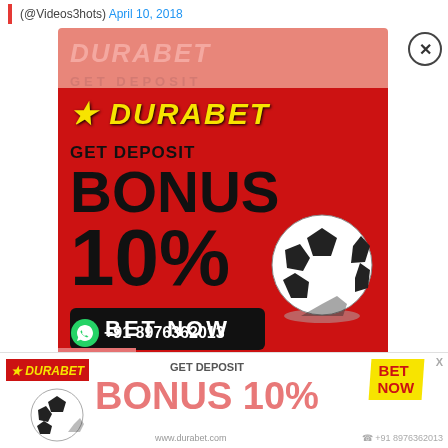(@Videos3hots) April 10, 2018
[Figure (advertisement): Durabet betting advertisement popup on red background showing 'GET DEPOSIT BONUS 10%' with a BET NOW button, football/soccer ball graphic, and WhatsApp contact +91 8976362013]
[Figure (advertisement): Bottom banner Durabet advertisement showing 'GET DEPOSIT BONUS 10%' with BET NOW badge, soccer ball, and contact info www.durabet.com and +91 8976362013]